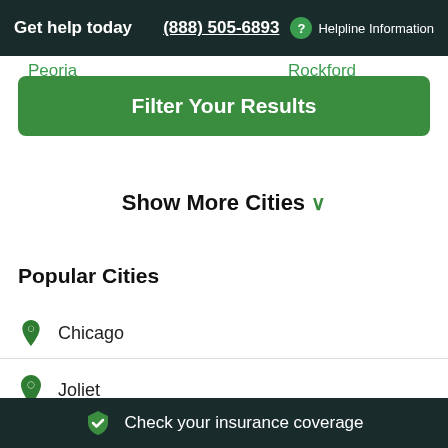Get help today  (888) 505-6893  ? Helpline Information
Peoria   Rockford
Filter Your Results
Show More Cities ∨
Popular Cities
Chicago
Joliet
Springfield
Check your insurance coverage